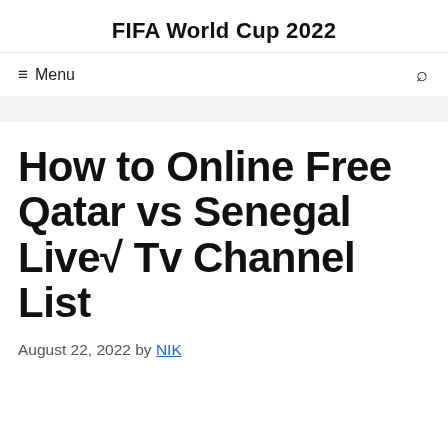FIFA World Cup 2022
≡ Menu
How to Online Free Qatar vs Senegal Live√ Tv Channel List
August 22, 2022 by NIK